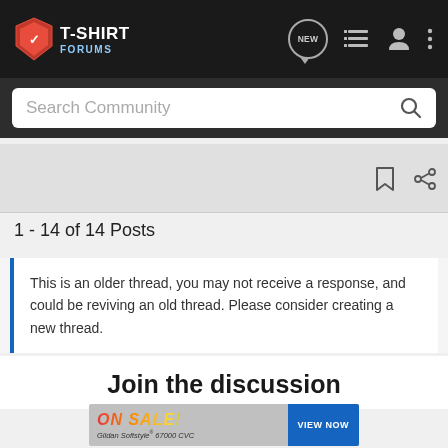T-SHIRT FORUMS
Search Community
1 - 14 of 14 Posts
This is an older thread, you may not receive a response, and could be reviving an old thread. Please consider creating a new thread.
Join the discussion
[Figure (screenshot): Advertisement banner: ON SALE! Gildan Softstyle 67000 CVC with VIEW NOW button]